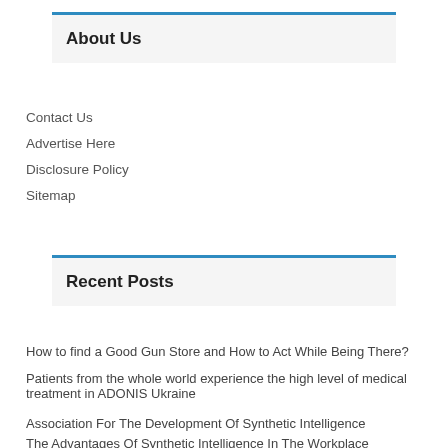About Us
Contact Us
Advertise Here
Disclosure Policy
Sitemap
Recent Posts
How to find a Good Gun Store and How to Act While Being There?
Patients from the whole world experience the high level of medical treatment in ADONIS Ukraine
Association For The Development Of Synthetic Intelligence
The Advantages Of Synthetic Intelligence In The Workplace